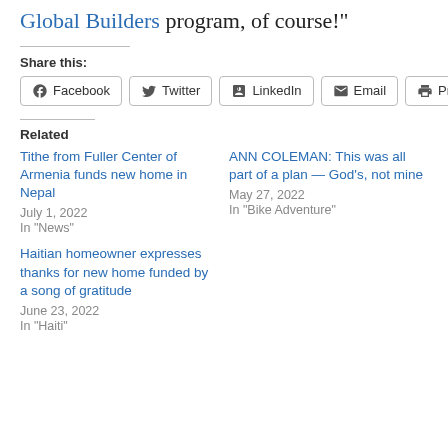volunteers make the trip in through our growing Global Builders program, of course!"
Share this:
Facebook  Twitter  LinkedIn  Email  Print
Related
Tithe from Fuller Center of Armenia funds new home in Nepal
July 1, 2022
In "News"
ANN COLEMAN: This was all part of a plan — God's, not mine
May 27, 2022
In "Bike Adventure"
Haitian homeowner expresses thanks for new home funded by a song of gratitude
June 23, 2022
In "Haiti"